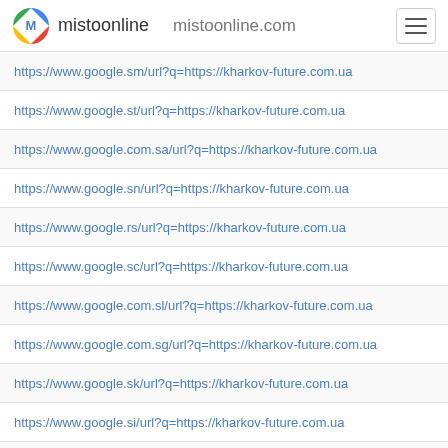mistoonline  mistoonline.com
https://www.google.sm/url?q=https://kharkov-future.com.ua
https://www.google.st/url?q=https://kharkov-future.com.ua
https://www.google.com.sa/url?q=https://kharkov-future.com.ua
https://www.google.sn/url?q=https://kharkov-future.com.ua
https://www.google.rs/url?q=https://kharkov-future.com.ua
https://www.google.sc/url?q=https://kharkov-future.com.ua
https://www.google.com.sl/url?q=https://kharkov-future.com.ua
https://www.google.com.sg/url?q=https://kharkov-future.com.ua
https://www.google.sk/url?q=https://kharkov-future.com.ua
https://www.google.si/url?q=https://kharkov-future.com.ua
https://www.google.com.sb/url?q=https://kharkov-future.com.ua